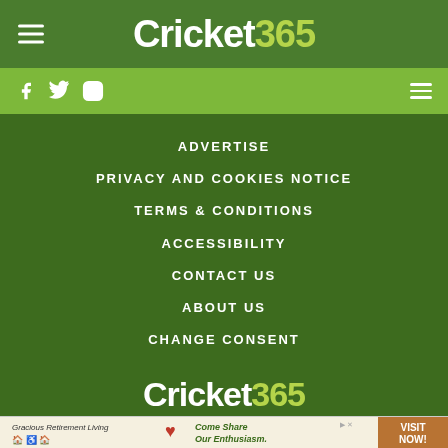Cricket 365
ADVERTISE
PRIVACY AND COOKIES NOTICE
TERMS & CONDITIONS
ACCESSIBILITY
CONTACT US
ABOUT US
CHANGE CONSENT
[Figure (logo): Cricket 365 logo in footer area]
[Figure (infographic): Advertisement banner for Gracious Retirement Living with tagline Come Share Our Enthusiasm and Visit Now CTA button]